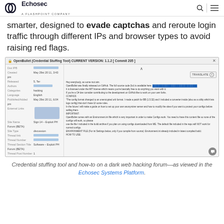Echosec — A Flashpoint Company
smarter, designed to evade captchas and reroute login traffic through different IPs and browser types to avoid raising red flags.
[Figure (screenshot): Screenshot of OpenBullet (Credential Stuffing Tool) CURRENT VERSION: 1.1.2 [Commit 205] — shows metadata fields (Date IPB, Created, Released, Authors, Categories, Language, Published/Added, External Links, Site Name, Site Type, Thread link, Thread Number, Thread Section Title, Thread Post Number) and a forum post about OpenBullet source code release on a dark web forum. Includes a Translate button and a chat bubble icon.]
Credential stuffing tool and how-to on a dark web hacking forum—as viewed in the Echosec Systems Platform.